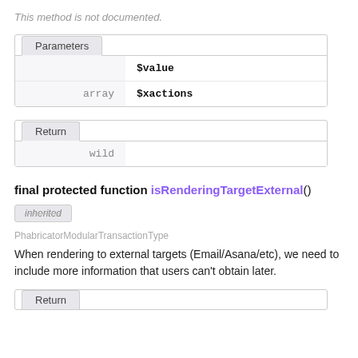This method is not documented.
| type | parameter |
| --- | --- |
|  | $value |
| array | $xactions |
| return |
| --- |
| wild |
final protected function isRenderingTargetExternal()
inherited
PhabricatorModularTransactionType
When rendering to external targets (Email/Asana/etc), we need to include more information that users can't obtain later.
Return